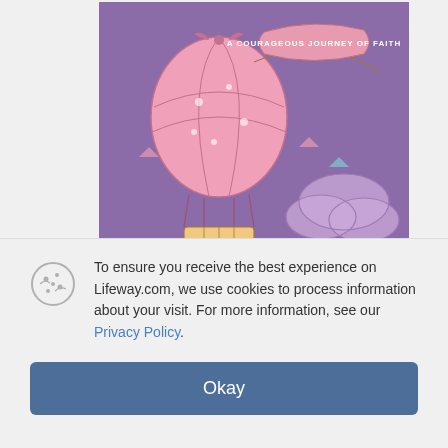[Figure (illustration): Book cover image for 'For Girls Like You: God's Story Girl' showing a pink hot air balloon with banner reading 'A COURAGEOUS JOURNEY OF FAITH' on a purple background with clouds. LifeWay Kids logo in bottom right.]
[Figure (photo): Two thumbnail images of the same book cover — first thumbnail selected (highlighted border), second thumbnail unselected.]
Share
For Girls Like You: God's
To ensure you receive the best experience on Lifeway.com, we use cookies to process information about your visit. For more information, see our Privacy Policy.
Okay